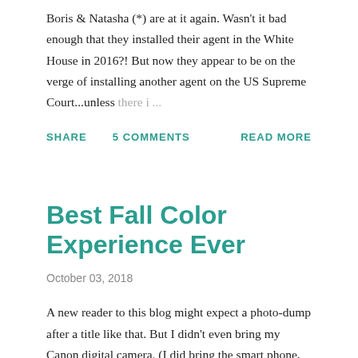Boris & Natasha (*) are at it again. Wasn't it bad enough that they installed their agent in the White House in 2016?! But now they appear to be on the verge of installing another agent on the US Supreme Court...unless there i ...
SHARE   5 COMMENTS   READ MORE
Best Fall Color Experience Ever
October 03, 2018
A new reader to this blog might expect a photo-dump after a title like that. But I didn't even bring my Canon digital camera. (I did bring the smart phone, but just don't take it seriously as a camera. Maybe I should.) My friend ...